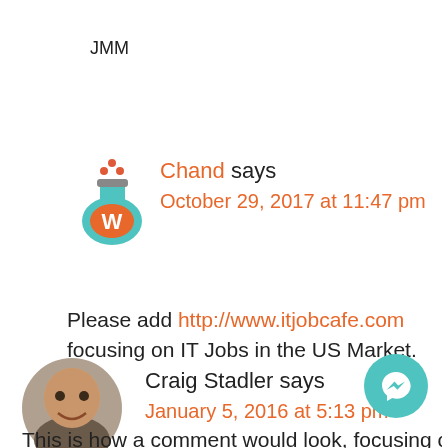JMM
[Figure (logo): WordPress-style logo icon (teal flask/beaker with orange W letter and red dots)]
Chand says
October 29, 2017 at 11:47 pm
Please add http://www.itjobcafe.com focusing on IT Jobs in the US Market.
[Figure (photo): Circular avatar photo of Craig Stadler, a man smiling]
Craig Stadler says
January 5, 2016 at 5:13 pm
This is how a comment would look, focusing on it
[Figure (logo): Teal circle with Facebook Messenger lightning bolt icon]